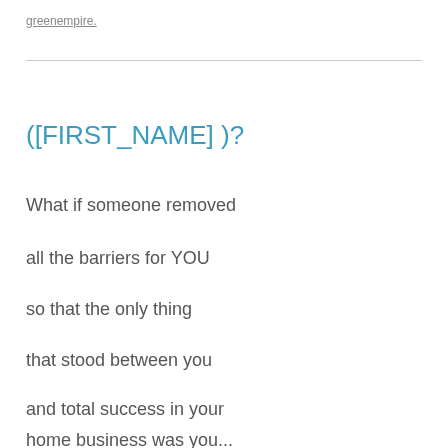greenempire.
([FIRST_NAME] )?
What if someone removed
all the barriers for YOU
so that the only thing
that stood between you
and total success in your
home business was you...